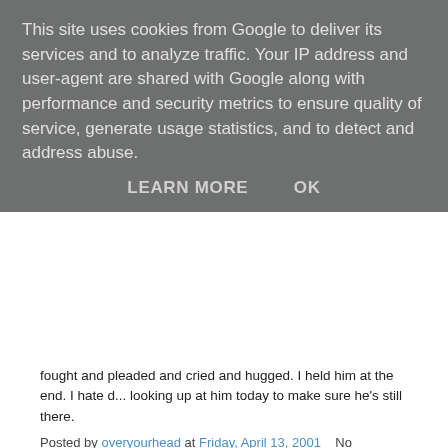This site uses cookies from Google to deliver its services and to analyze traffic. Your IP address and user-agent are shared with Google along with performance and security metrics to ensure quality of service, generate usage statistics, and to detect and address abuse.
LEARN MORE   OK
fought and pleaded and cried and hugged. I held him at the end. I hate d... looking up at him today to make sure he's still there.
Posted by overyourhead at Friday, April 13, 2001   No comments:
Stranger Things...
Marc Almond's new album is going to be out on 18th June. This is the be... time. The "I Created Me" track performed at last year's Christmas show a... quite literally, a show stopper. According to Michelle at the Theatre Of Ma... the new album is good. "Think big sounds, lush orchestration, a touch of... John Barry soundtrack." Sounds like my kind of thing! Can't wait.
Posted by overyourhead at Friday, April 13, 2001   No comments: